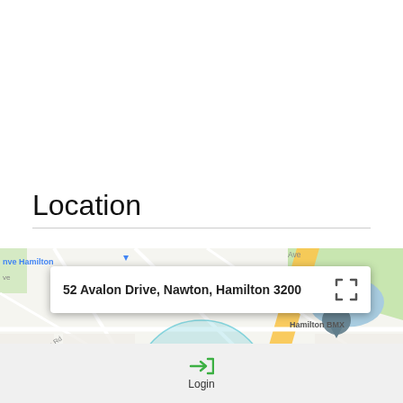Location
[Figure (screenshot): Google Maps screenshot showing 52 Avalon Drive, Nawton, Hamilton 3200 with surrounding streets and landmarks including Mobil, Spice Guru, Hamilton BMX, Good News Community Centre, and The Sugar shop. A circular highlighted area marks the location.]
52 Avalon Drive, Nawton, Hamilton 3200
Login